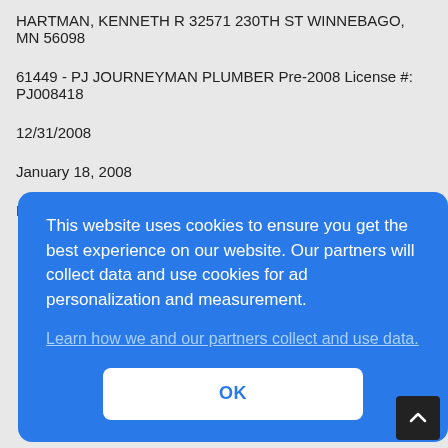HARTMAN, KENNETH R 32571 230TH ST WINNEBAGO, MN 56098
61449 - PJ JOURNEYMAN PLUMBER Pre-2008 License #: PJ008418
12/31/2008
January 18, 2008
Page 17 of 58
This website uses cookies to ensure you get the best experience on our website. Our partners will collect data and use cookies for ad personalization and measurement.
Learn how we and our partners collect and use data.
731